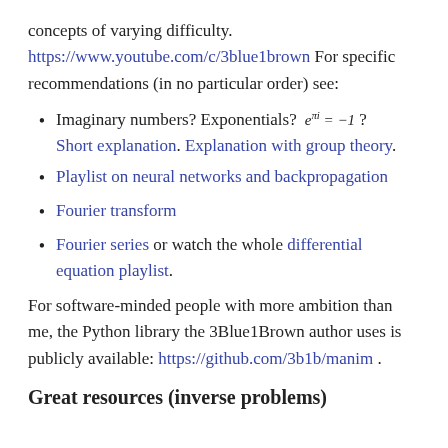concepts of varying difficulty. https://www.youtube.com/c/3blue1brown For specific recommendations (in no particular order) see:
Imaginary numbers? Exponentials? e^{πi} = −1 ? Short explanation. Explanation with group theory.
Playlist on neural networks and backpropagation
Fourier transform
Fourier series or watch the whole differential equation playlist.
For software-minded people with more ambition than me, the Python library the 3Blue1Brown author uses is publicly available: https://github.com/3b1b/manim .
Great resources (inverse problems)